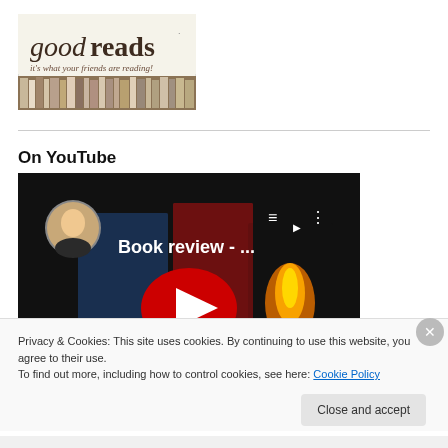[Figure (logo): Goodreads logo with tagline 'it's what your friends are reading!' and bookshelf image]
On YouTube
[Figure (screenshot): YouTube video thumbnail showing 'Book review - ...' with book covers and a red play button]
Privacy & Cookies: This site uses cookies. By continuing to use this website, you agree to their use.
To find out more, including how to control cookies, see here: Cookie Policy
Close and accept